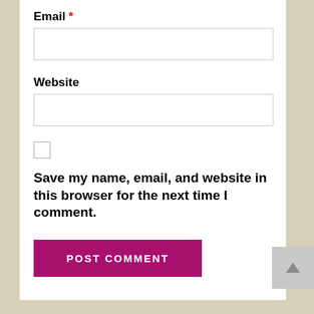Email *
[Figure (other): Email text input field, empty, white background with light gray border]
Website
[Figure (other): Website text input field, empty, white background with light gray border]
[Figure (other): Unchecked checkbox]
Save my name, email, and website in this browser for the next time I comment.
[Figure (other): POST COMMENT button, magenta/dark pink background, white uppercase text]
[Figure (other): Back to top button, gray square with upward arrow]